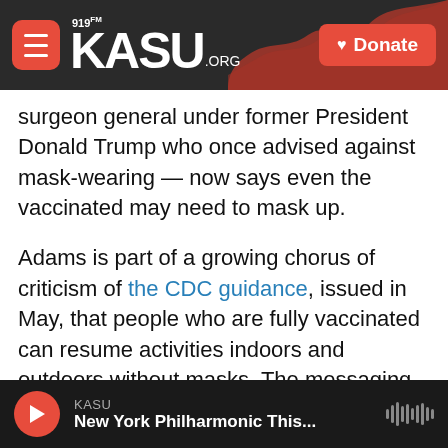919FM KASU.ORG | Donate
surgeon general under former President Donald Trump who once advised against mask-wearing — now says even the vaccinated may need to mask up.
Adams is part of a growing chorus of criticism of the CDC guidance, issued in May, that people who are fully vaccinated can resume activities indoors and outdoors without masks. The messaging, Adams told NPR's Morning Edition, "has just absolutely, unequivocally failed."
"More people than ever — vaccinated and unvaccinated — are going maskless," he said. "It
KASU | New York Philharmonic This...